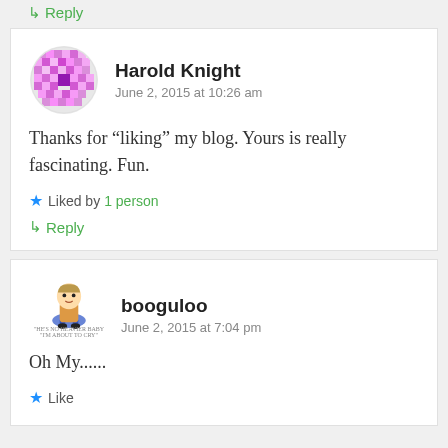↳ Reply
[Figure (illustration): Purple mosaic/pixel-art circular avatar for Harold Knight]
Harold Knight
June 2, 2015 at 10:26 am
Thanks for “liking” my blog. Yours is really fascinating. Fun.
★ Liked by 1 person
↪ Reply
[Figure (illustration): Peanuts character (Linus) sitting illustration used as avatar for booguloo]
booguloo
June 2, 2015 at 7:04 pm
Oh My......
★ Like